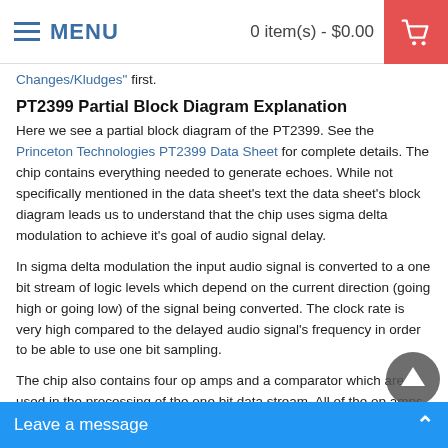MENU   0 item(s) - $0.00
Changes/Kludges" first.
PT2399 Partial Block Diagram Explanation
Here we see a partial block diagram of the PT2399. See the Princeton Technologies PT2399 Data Sheet for complete details. The chip contains everything needed to generate echoes. While not specifically mentioned in the data sheet's text the data sheet's block diagram leads us to understand that the chip uses sigma delta modulation to achieve it's goal of audio signal delay.
In sigma delta modulation the input audio signal is converted to a one bit stream of logic levels which depend on the current direction (going high or going low) of the signal being converted. The clock rate is very high compared to the delayed audio signal's frequency in order to be able to use one bit sampling.
The chip also contains four op amps and a comparator which are used in the processing of the one bit data stream. All of the op amps share a common reference voltage (one half of the IC's supply voltage) which is applied to their non-inverting inputs. Analog signal levels through the chip are in the two volt peak to peak range while the chip's CMOS logic runs at the full 5V. The signal to be delayed is inse... and gain setting resistor) o...